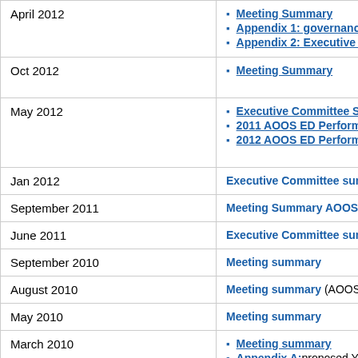| Date | Documents |
| --- | --- |
| April 2012 (partial) | Meeting Summary
Appendix 1: governance
Appendix 2: Executive C |
| Oct 2012 | Meeting Summary |
| May 2012 | Executive Committee Su
2011 AOOS ED Performa
2012 AOOS ED Performa |
| Jan 2012 | Executive Committee summ |
| September 2011 | Meeting Summary AOOS S |
| June 2011 | Executive Committee summ |
| September 2010 | Meeting summary |
| August 2010 | Meeting summary (AOOS B |
| May 2010 | Meeting summary |
| March 2010 | Meeting summary
Appendix A: proposed Ye
Appendix B: Year 3 appr |